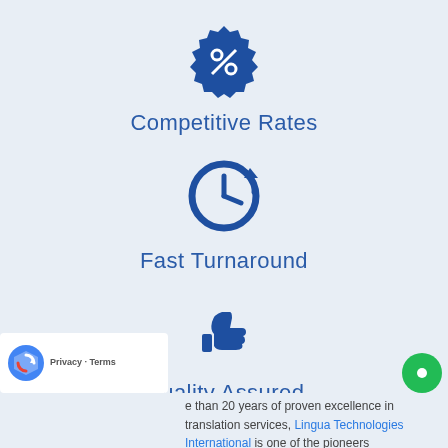[Figure (infographic): Blue badge/discount icon with percent symbol]
Competitive Rates
[Figure (infographic): Blue clock with refresh arrow icon]
Fast Turnaround
[Figure (infographic): Blue thumbs up / like icon]
Quality Assured
e than 20 years of proven excellence in translation services, Lingua Technologies International is one of the pioneers